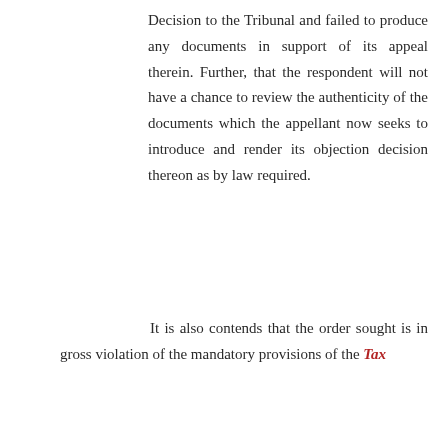Decision to the Tribunal and failed to produce any documents in support of its appeal therein. Further, that the respondent will not have a chance to review the authenticity of the documents which the appellant now seeks to introduce and render its objection decision thereon as by law required.
7. It is also contends that the order sought is in gross violation of the mandatory provisions of the Tax